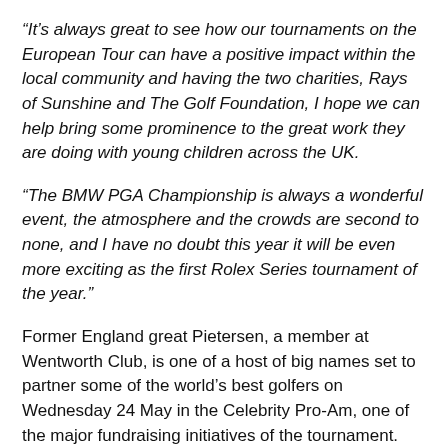“It’s always great to see how our tournaments on the European Tour can have a positive impact within the local community and having the two charities, Rays of Sunshine and The Golf Foundation, I hope we can help bring some prominence to the great work they are doing with young children across the UK.
“The BMW PGA Championship is always a wonderful event, the atmosphere and the crowds are second to none, and I have no doubt this year it will be even more exciting as the first Rolex Series tournament of the year.”
Former England great Pietersen, a member at Wentworth Club, is one of a host of big names set to partner some of the world’s best golfers on Wednesday 24 May in the Celebrity Pro-Am, one of the major fundraising initiatives of the tournament.
“It’s fantastic to be at Wentworth today having a bit of fun with these kids and to help shed some light on the fantastic work Rays of Sunshine and The Golf Foundation